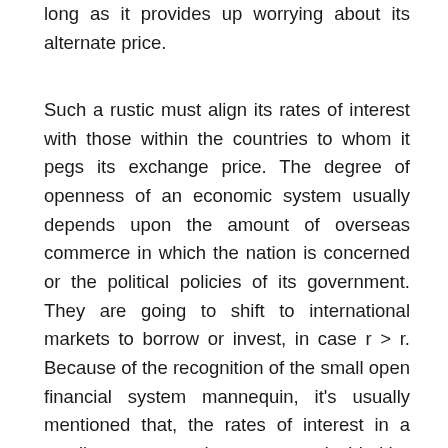long as it provides up worrying about its alternate price.
Such a rustic must align its rates of interest with those within the countries to whom it pegs its exchange price. The degree of openness of an economic system usually depends upon the amount of overseas commerce in which the nation is concerned or the political policies of its government. They are going to shift to international markets to borrow or invest, in case r > r. Because of the recognition of the small open financial system mannequin, it's usually mentioned that, the rates of interest in a small open economic system are decided by